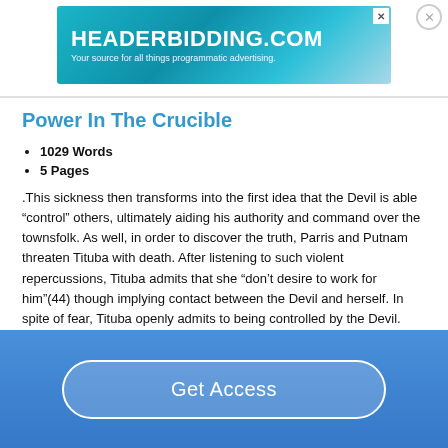[Figure (other): HeaderBidding.com advertisement banner — teal gradient background with white text 'HEADERBIDDING.COM' and subtitle 'Your source for all things programmatic advertising.']
Power In The Crucible
1029 Words
5 Pages
.This sickness then transforms into the first idea that the Devil is able “control” others, ultimately aiding his authority and command over the townsfolk. As well, in order to discover the truth, Parris and Putnam threaten Tituba with death. After listening to such violent repercussions, Tituba admits that she “don’t desire to work for him”(44) though implying contact between the Devil and herself. In spite of fear, Tituba openly admits to being controlled by the Devil.